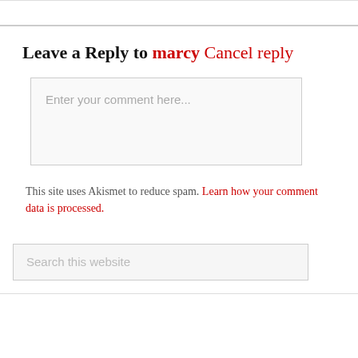Leave a Reply to marcy Cancel reply
Enter your comment here...
This site uses Akismet to reduce spam. Learn how your comment data is processed.
Search this website